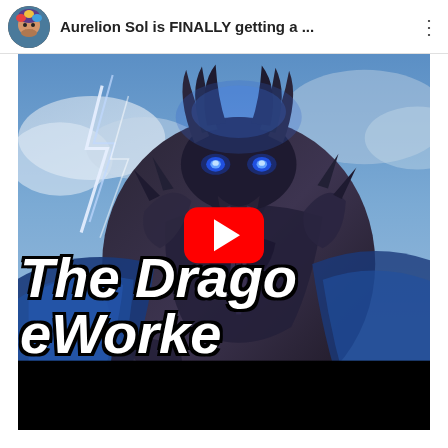Aurelion Sol is FINALLY getting a ...
[Figure (screenshot): YouTube video thumbnail showing Aurelion Sol (dragon champion from League of Legends) with blue glowing eyes and lightning background. Large white bold text reads 'THE DRAGO' on first line and 'EWORKE' on second line (partially cropped). A red YouTube play button overlay is in the center. A black bar appears at the bottom of the video.]